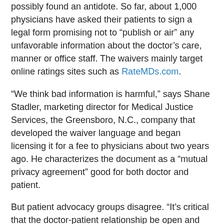possibly found an antidote. So far, about 1,000 physicians have asked their patients to sign a legal form promising not to “publish or air” any unfavorable information about the doctor’s care, manner or office staff. The waivers mainly target online ratings sites such as RateMDs.com.
“We think bad information is harmful,” says Shane Stadler, marketing director for Medical Justice Services, the Greensboro, N.C., company that developed the waiver language and began licensing it for a fee to physicians about two years ago. He characterizes the document as a “mutual privacy agreement” good for both doctor and patient.
But patient advocacy groups disagree. “It’s critical that the doctor-patient relationship be open and trusting,” says Jennifer C. Jaff, executive director of Advocacy for Patients With Chronic Illness in Farmington, Conn. “These waivers set up adversarial boundaries from the start.”
But will the waiver stand up in court? “Courts will not enforce contracts that violate public policy,” says John Weistart, a contracts professor at Duke University School of Law, who